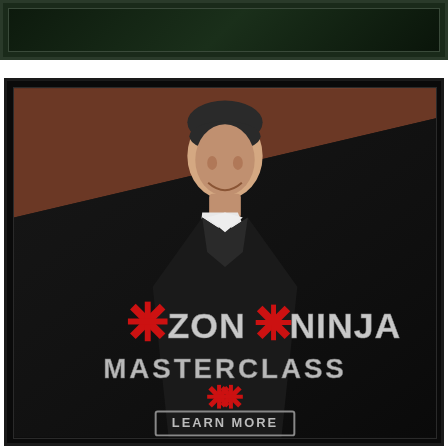[Figure (illustration): Dark green banner/header strip at the top of the page with a dark framed inner area]
[Figure (photo): Promotional advertisement card for 'Zon Ninja Masterclass' featuring a young man in a dark suit and tie smiling at the camera, set against a dark brown/maroon background that transitions to black. The lower portion shows 'ZON NINJA MASTERCLASS' text in silver/metallic styling with red X ninja star graphics, and a 'LEARN MORE' button at the bottom.]